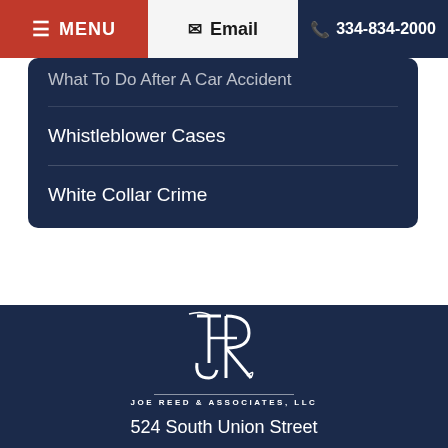☰ MENU | ✉ Email | 334-834-2000
What To Do After A Car Accident
Whistleblower Cases
White Collar Crime
[Figure (logo): Joe Reed & Associates, LLC attorneys at law stylized JR monogram logo in white on dark navy background]
JOE REED & ASSOCIATES, LLC
ATTORNEYS AT LAW
524 South Union Street